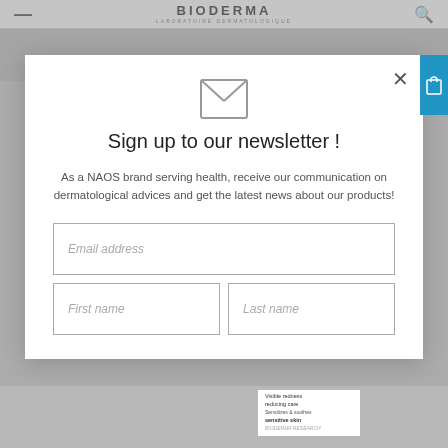BIODERMA LABORATOIRE DERMATOLOGIQUE
Sign up to our newsletter !
As a NAOS brand serving health, receive our communication on dermatological advices and get the latest news about our products!
Email address
First name
Last name